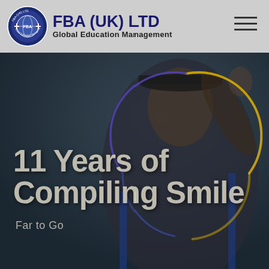[Figure (logo): FBA (UK) LTD circular badge logo with globe and red cross emblems]
FBA (UK) LTD
Global Education Management
[Figure (photo): Dark-toned hero image of a smiling graduate in cap and gown, with a decorative gold and purple circular arc overlay]
11 Years of Compiling Smile
Far to Go